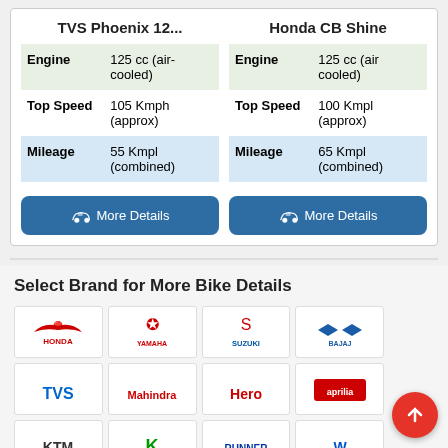|  | TVS Phoenix 12... | Honda CB Shine |
| --- | --- | --- |
| Engine | 125 cc (air-cooled) | 125 cc (air cooled) |
| Top Speed | 105 Kmph (approx) | 100 Kmpl (approx) |
| Mileage | 55 Kmpl (combined) | 65 Kmpl (combined) |
More Details (TVS Phoenix 12...)
More Details (Honda CB Shine)
Select Brand for More Bike Details
[Figure (logo): Honda logo]
[Figure (logo): Yamaha logo]
[Figure (logo): Suzuki logo]
[Figure (logo): Bajaj logo]
[Figure (logo): TVS logo]
[Figure (logo): Mahindra logo]
[Figure (logo): Hero logo]
[Figure (logo): Aprilia logo]
[Figure (logo): KTM logo]
[Figure (logo): Kawasaki logo]
[Figure (logo): Runner logo]
[Figure (logo): UM logo]